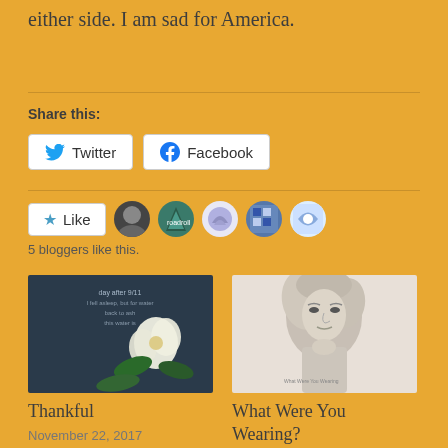either side. I am sad for America.
Share this:
Twitter   Facebook
Like  5 bloggers like this.
[Figure (photo): Thumbnail image of a white flower with text overlay — related post titled Thankful]
Thankful
November 22, 2017
In "New Blog"
[Figure (photo): Black and white portrait photo of a woman — related post titled What Were You Wearing?]
What Were You Wearing?
October 31, 2017
In "hope"